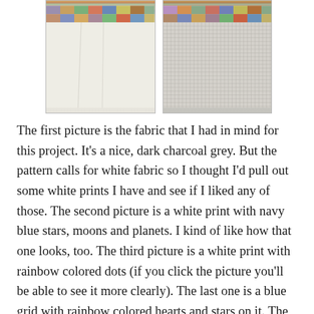[Figure (photo): Two side-by-side photos of quilting fabric. Left photo shows a plain white/off-white fabric with a colorful quilt border at top. Right photo shows a white fabric with a fine blue grid pattern, also with a colorful quilt border at top.]
The first picture is the fabric that I had in mind for this project. It's a nice, dark charcoal grey. But the pattern calls for white fabric so I thought I'd pull out some white prints I have and see if I liked any of those. The second picture is a white print with navy blue stars, moons and planets. I kind of like how that one looks, too. The third picture is a white print with rainbow colored dots (if you click the picture you'll be able to see it more clearly). The last one is a blue grid with rainbow colored hearts and stars on it. The last two fabrics are actually from my mom's stash...